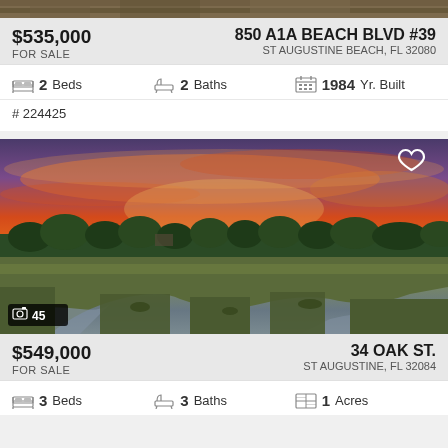[Figure (photo): Top portion of a beach/coastal property listing photo (partially visible at top)]
$535,000
FOR SALE
850 A1A BEACH BLVD #39
ST AUGUSTINE BEACH, FL 32080
2 Beds   2 Baths   1984 Yr. Built
# 224425
[Figure (photo): Aerial sunset photo of marshy waterway with trees and dramatic orange/red sky. Photo badge showing 45 photos. Heart/favorite icon in top right.]
$549,000
FOR SALE
34 OAK ST.
ST AUGUSTINE, FL 32084
3 Beds   3 Baths   1 Acres